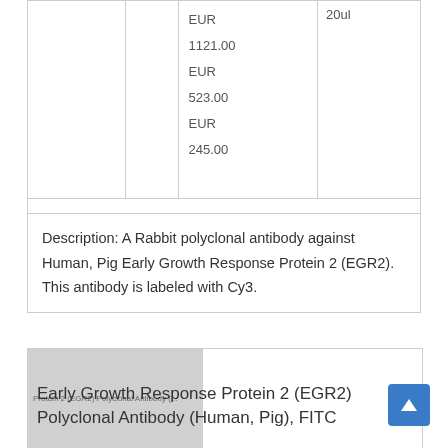|  |  | EUR
1121.00
EUR
523.00
EUR
245.00 | 20ul |
Description: A Rabbit polyclonal antibody against Human, Pig Early Growth Response Protein 2 (EGR2). This antibody is labeled with Cy3.
[Figure (photo): Product image placeholder showing a grey rectangle with text overlay reading 'Protein 2 (EGR2) Polyclonal Antibody (...)']
Early Growth Response Protein 2 (EGR2) Polyclonal Antibody (Human, Pig), FITC